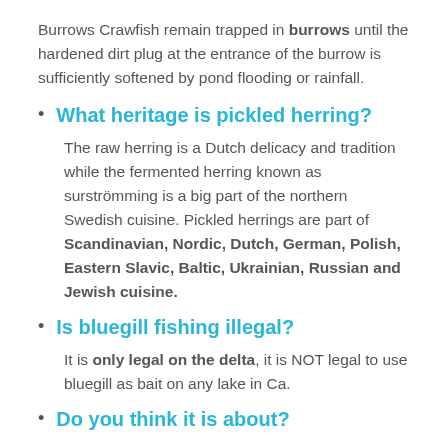Burrows Crawfish remain trapped in burrows until the hardened dirt plug at the entrance of the burrow is sufficiently softened by pond flooding or rainfall.
What heritage is pickled herring?
The raw herring is a Dutch delicacy and tradition while the fermented herring known as surströmming is a big part of the northern Swedish cuisine. Pickled herrings are part of Scandinavian, Nordic, Dutch, German, Polish, Eastern Slavic, Baltic, Ukrainian, Russian and Jewish cuisine.
Is bluegill fishing illegal?
It is only legal on the delta, it is NOT legal to use bluegill as bait on any lake in Ca.
Do you think it is about?